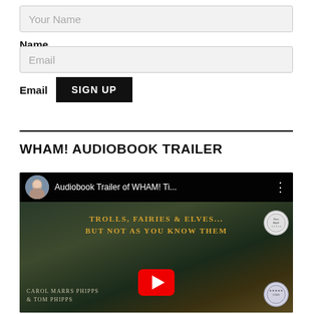Your Name
Name
Email
Email   SIGN UP
WHAM! AUDIOBOOK TRAILER
[Figure (screenshot): YouTube video thumbnail for 'Audiobook Trailer of WHAM! Ti...' showing a fantasy book cover with text 'TROLLS, FAIRIES & ELVES... BUT NOT AS YOU KNOW THEM' by CAROL MARRS PHIPPS & TOM PHIPPS, with award badges and a YouTube play button overlay.]